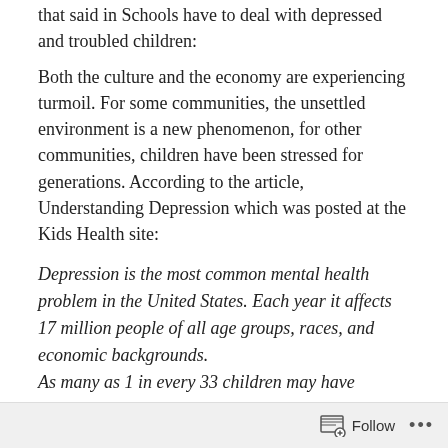that said in Schools have to deal with depressed and troubled children:
Both the culture and the economy are experiencing turmoil. For some communities, the unsettled environment is a new phenomenon, for other communities, children have been stressed for generations. According to the article, Understanding Depression which was posted at the Kids Health site:
Depression is the most common mental health problem in the United States. Each year it affects 17 million people of all age groups, races, and economic backgrounds. As many as 1 in every 33 children may have depression; in teens, that number may be as high as 1 in 8.
http://kidshealth.org/parent/emotions/feelings/understanding_depression.html
Follow ...